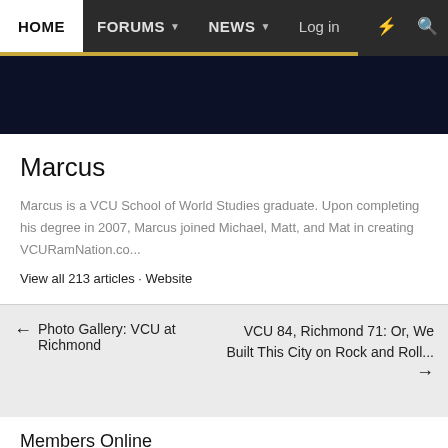HOME  FORUMS  NEWS  Log in
[Figure (screenshot): Dark navy banner/header image area]
Marcus
Marcus is a VCU School of World Studies graduate. Upon completing his degree in 2007, Marcus joined Michael, Matt, and Mat in creating VCURamNation.co...
View all 213 articles · Website
← Photo Gallery: VCU at Richmond
VCU 84, Richmond 71: Or, We Built This City on Rock and Roll... →
Members Online